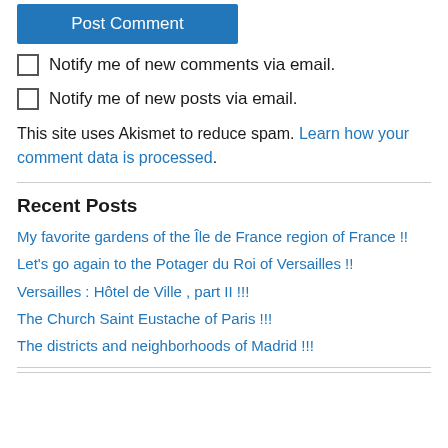[Figure (other): Blue 'Post Comment' button]
Notify me of new comments via email.
Notify me of new posts via email.
This site uses Akismet to reduce spam. Learn how your comment data is processed.
Recent Posts
My favorite gardens of the Île de France region of France !!
Let's go again to the Potager du Roi of Versailles !!
Versailles : Hôtel de Ville , part II !!!
The Church Saint Eustache of Paris !!!
The districts and neighborhoods of Madrid !!!